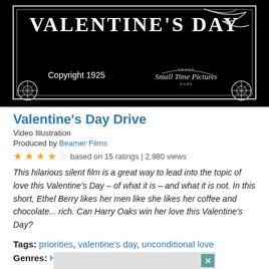[Figure (photo): Black and white still image from a 1925 silent film titled Valentine's Day Drive, showing decorative title card text with 'VALENTINE'S DAY' and ornate flourishes, 'Copyright 1925' and 'Small Time Pictures' text, with decorative circular corner elements on a black background.]
Valentine's Day Drive
Video Illustration
Produced by Beamer Films
★★★★☆ based on 15 ratings | 2,980 views
This hilarious silent film is a great way to lead into the topic of love this Valentine's Day – of what it is – and what it is not. In this short, Ethel Berry likes her men like she likes her coffee and chocolate... rich. Can Harry Oaks win her love this Valentine's Day?
Tags: priorities, valentine's day, unconditional love
Genres: Humorous
[Figure (other): Advertisement bar at bottom with close button (X)]